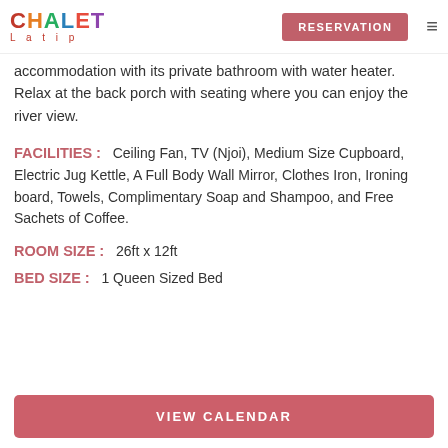CHALET Latip | RESERVATION
accommodation with its private bathroom with water heater. Relax at the back porch with seating where you can enjoy the river view.
FACILITIES : Ceiling Fan, TV (Njoi), Medium Size Cupboard, Electric Jug Kettle, A Full Body Wall Mirror, Clothes Iron, Ironing board, Towels, Complimentary Soap and Shampoo, and Free Sachets of Coffee.
ROOM SIZE : 26ft x 12ft
BED SIZE : 1 Queen Sized Bed
VIEW CALENDAR